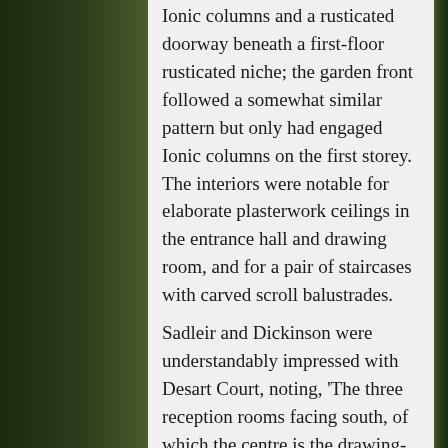Ionic columns and a rusticated doorway beneath a first-floor rusticated niche; the garden front followed a somewhat similar pattern but only had engaged Ionic columns on the first storey. The interiors were notable for elaborate plasterwork ceilings in the entrance hall and drawing room, and for a pair of staircases with carved scroll balustrades.
Sadleir and Dickinson were understandably impressed with Desart Court, noting, 'The three reception rooms facing south, of which the centre is the drawing-room, all communicate, that to the left being the boudoir. The drawing-room, a wellproportioned and nicely lighted apartment, has an elaborate rococo ceiling displaying much originality of design, and doubtless contemporary with that in the hall. Heads are introduced at intervals as well as masks; the latter an unusual